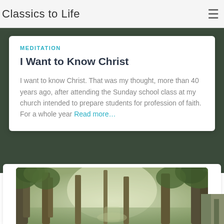Classics to Life
MEDITATION
I Want to Know Christ
I want to know Christ. That was my thought, more than 40 years ago, after attending the Sunday school class at my church intended to prepare students for profession of faith. For a whole year Read more…
[Figure (photo): Misty forest scene with tall trees and soft green light filtering through fog, used as a card background image at the bottom of the page.]